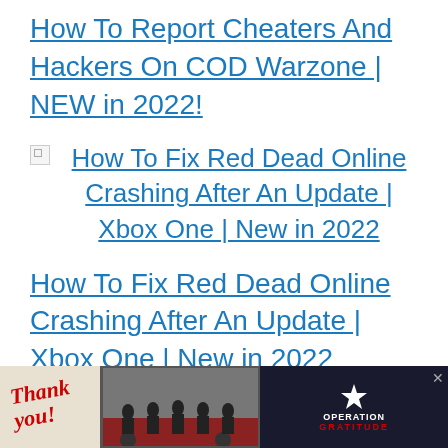How To Report Cheaters And Hackers On COD Warzone | NEW in 2022!
[Figure (other): Broken image icon placeholder thumbnail for article link]
How To Fix Red Dead Online Crashing After An Update | Xbox One | New in 2022
How To Fix Red Dead Online Crashing After An Update | Xbox One | New in 2022
[Figure (photo): Advertisement banner: 'Thank you' with firefighters photo and Operation Gratitude logo]